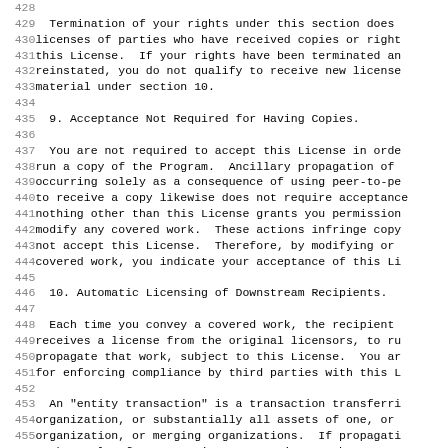Lines 428-459 of GPL license text including sections 9 and 10. Section 9: Acceptance Not Required for Having Copies. Section 10: Automatic Licensing of Downstream Recipients.